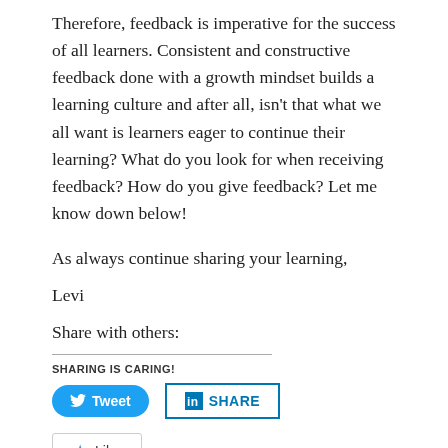Therefore, feedback is imperative for the success of all learners. Consistent and constructive feedback done with a growth mindset builds a learning culture and after all, isn't that what we all want is learners eager to continue their learning? What do you look for when receiving feedback? How do you give feedback? Let me know down below!
As always continue sharing your learning,
Levi
Share with others:
SHARING IS CARING!
[Figure (other): Tweet button (blue rounded) and LinkedIn SHARE button (outlined blue)]
[Figure (other): Like button with star icon]
Be the first to like this.